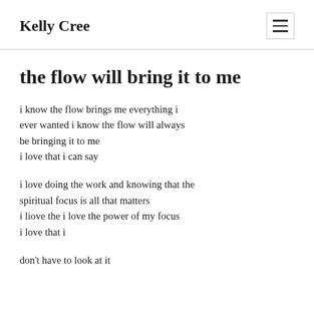Kelly Cree
the flow will bring it to me
i know the flow brings me everything i ever wanted i know the flow will always be bringing it to me
i love that i can say
i love doing the work and knowing that the spiritual focus is all that matters
i liove the i love the power of my focus
i love that i
don't have to look at it